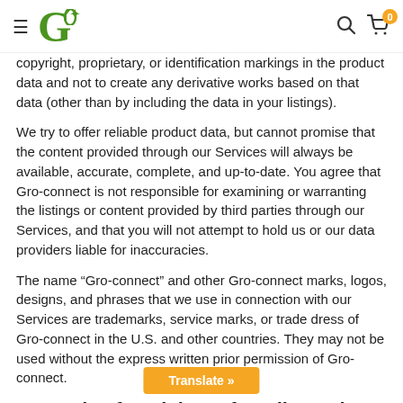Gro-connect website header with menu, logo, search and cart icons
copyright, proprietary, or identification markings in the product data and not to create any derivative works based on that data (other than by including the data in your listings).
We try to offer reliable product data, but cannot promise that the content provided through our Services will always be available, accurate, complete, and up-to-date. You agree that Gro-connect is not responsible for examining or warranting the listings or content provided by third parties through our Services, and that you will not attempt to hold us or our data providers liable for inaccuracies.
The name “Gro-connect” and other Gro-connect marks, logos, designs, and phrases that we use in connection with our Services are trademarks, service marks, or trade dress of Gro-connect in the U.S. and other countries. They may not be used without the express written prior permission of Gro-connect.
10. Notice for Claims of Intellectual Property Violations...